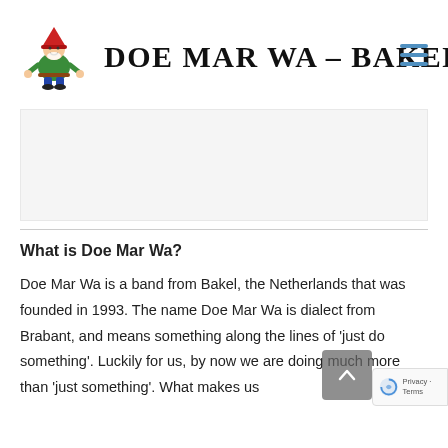DOE MAR WA - BAKEL
[Figure (logo): Cartoon gnome/dwarf mascot logo for Doe Mar Wa - Bakel]
What is Doe Mar Wa?
Doe Mar Wa is a band from Bakel, the Netherlands that was founded in 1993. The name Doe Mar Wa is dialect from Brabant, and means something along the lines of 'just do something'. Luckily for us, by now we are doing much more than 'just something'. What makes us